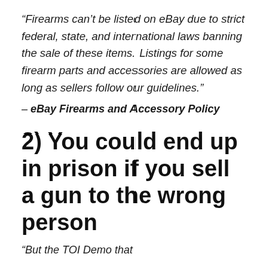“Firearms can’t be listed on eBay due to strict federal, state, and international laws banning the sale of these items. Listings for some firearm parts and accessories are allowed as long as sellers follow our guidelines.”
– eBay Firearms and Accessory Policy
2) You could end up in prison if you sell a gun to the wrong person
“But the TOI Demo that…